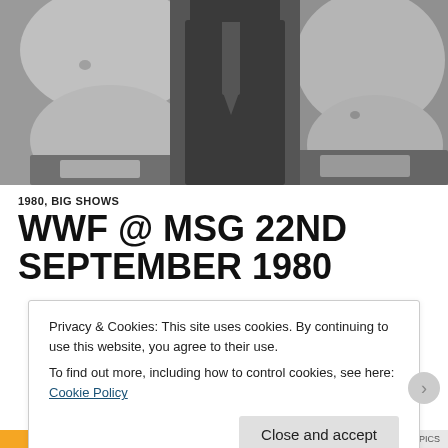[Figure (photo): Black and white photograph showing wrestlers and a suited man, shirtless men with championship belts visible at waist level]
1980, BIG SHOWS
WWF @ MSG 22ND SEPTEMBER 1980
Privacy & Cookies: This site uses cookies. By continuing to use this website, you agree to their use.
To find out more, including how to control cookies, see here: Cookie Policy
Close and accept